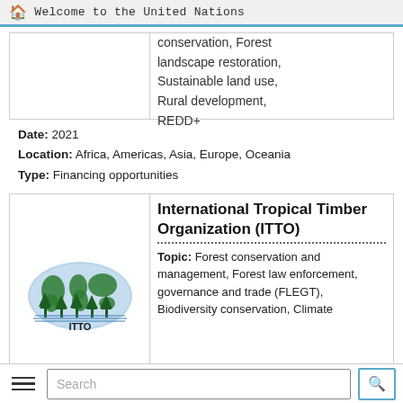Welcome to the United Nations
conservation, Forest landscape restoration, Sustainable land use, Rural development, REDD+
Date: 2021
Location: Africa, Americas, Asia, Europe, Oceania
Type: Financing opportunities
[Figure (logo): ITTO logo — oval with world map and trees, green and blue, with ITTO text below]
International Tropical Timber Organization (ITTO)
Topic: Forest conservation and management, Forest law enforcement, governance and trade (FLEGT), Biodiversity conservation, Climate
Search